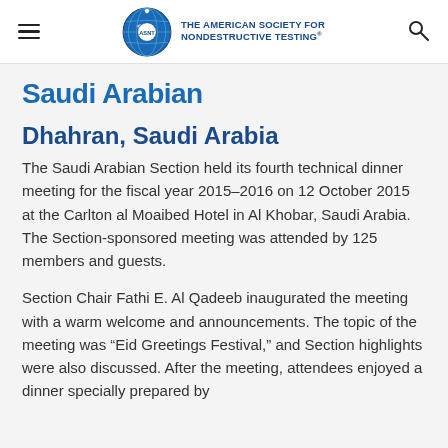THE AMERICAN SOCIETY FOR NONDESTRUCTIVE TESTING
Saudi Arabian
Dhahran, Saudi Arabia
The Saudi Arabian Section held its fourth technical dinner meeting for the fiscal year 2015–2016 on 12 October 2015 at the Carlton al Moaibed Hotel in Al Khobar, Saudi Arabia. The Section-sponsored meeting was attended by 125 members and guests.
Section Chair Fathi E. Al Qadeeb inaugurated the meeting with a warm welcome and announcements. The topic of the meeting was “Eid Greetings Festival,” and Section highlights were also discussed. After the meeting, attendees enjoyed a dinner specially prepared by